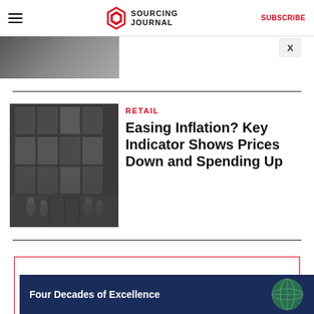Sourcing Journal | SUBSCRIBE
[Figure (photo): Partial view of a photo at the top, cropped — dark toned image]
[Figure (photo): Photo of people entering a building with large glass windows and dark facade]
RETAIL
Easing Inflation? Key Indicator Shows Prices Down and Spending Up
[Figure (infographic): SJ Newsletters sign-up box with red border. Text: SJ NEWSLETTERS — Get the news straight to your inbox. Close X button.]
[Figure (infographic): Dark navy ad banner: Four Decades of Excellence, with globe graphic on right]